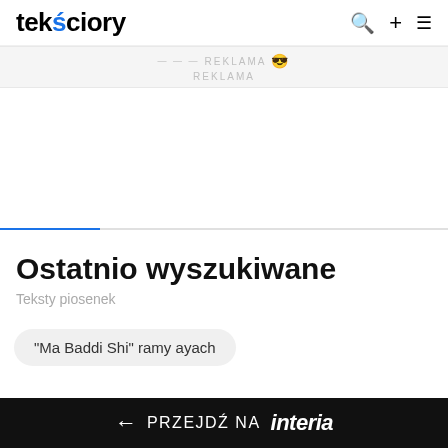tekściory
REKLAMA
REKLAMA
Ostatnio wyszukiwane
Teksty piosenek
"Ma Baddi Shi" ramy ayach
← PRZEJDŹ NA interia